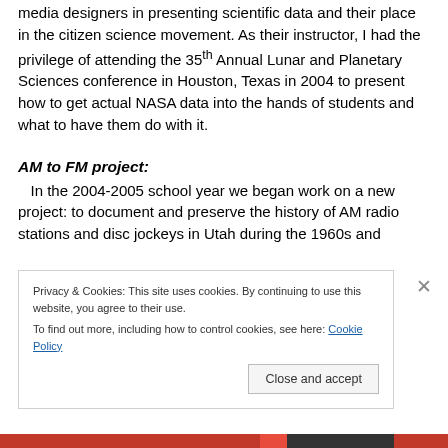media designers in presenting scientific data and their place in the citizen science movement. As their instructor, I had the privilege of attending the 35th Annual Lunar and Planetary Sciences conference in Houston, Texas in 2004 to present how to get actual NASA data into the hands of students and what to have them do with it.
AM to FM project:
In the 2004-2005 school year we began work on a new project: to document and preserve the history of AM radio stations and disc jockeys in Utah during the 1960s and